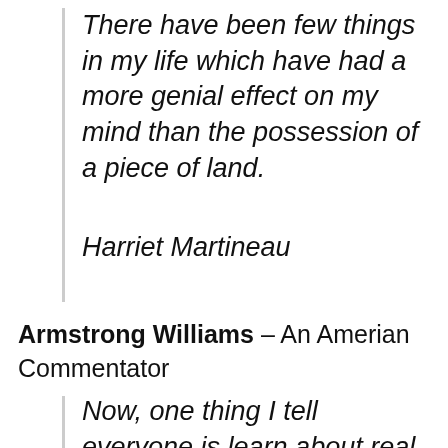There have been few things in my life which have had a more genial effect on my mind than the possession of a piece of land.
Harriet Martineau
Armstrong Williams – An Amerian Commentator
Now, one thing I tell everyone is learn about real estate. Repeat after me. Real Estate provides the highest returns, the greatest